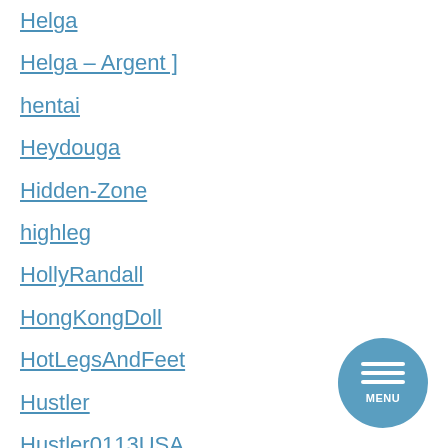Helga
Helga – Argent ]
hentai
Heydouga
Hidden-Zone
highleg
HollyRandall
HongKongDoll
HotLegsAndFeet
Hustler
Hustler0113USA
Hustler0213USA
Hustler0313USA